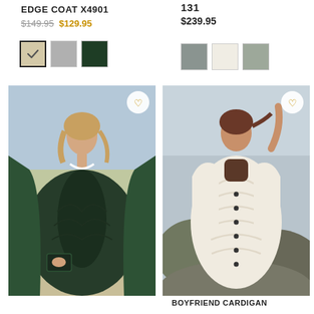EDGE COAT X4901
$149.95  $129.95
131
$239.95
[Figure (photo): Woman wearing a dark green and gray edge coat/wrap standing outdoors on a beach]
[Figure (photo): Woman wearing a cream Aran boyfriend cardigan standing on rocky coastal scenery]
BOYFRIEND CARDIGAN